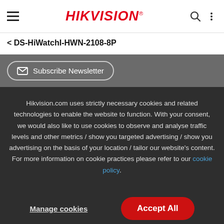HIKVISION® — navigation header with hamburger menu, search, and more icons
< DS-HiWatchI-HWN-2108-8P
Subscribe Newsletter
Hikvision.com uses strictly necessary cookies and related technologies to enable the website to function. With your consent, we would also like to use cookies to observe and analyse traffic levels and other metrics / show you targeted advertising / show you advertising on the basis of your location / tailor our website's content. For more information on cookie practices please refer to our cookie policy.
Manage cookies
Accept All